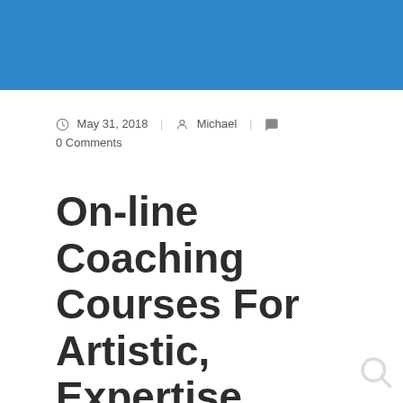May 31, 2018 | Michael | 0 Comments
On-line Coaching Courses For Artistic, Expertise, Enterprise Abilities